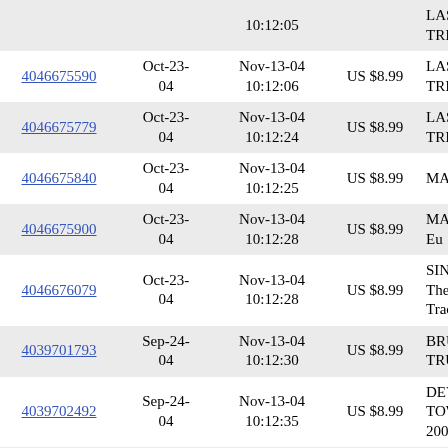| ID | Date | End Date/Time | Price | Title |
| --- | --- | --- | --- | --- |
| 4046675590 | Oct-23-04 | Nov-13-04 10:12:06 | US $8.99 | LAST TRIBE: |
| 4046675779 | Oct-23-04 | Nov-13-04 10:12:24 | US $8.99 | LAST TRIBE: |
| 4046675840 | Oct-23-04 | Nov-13-04 10:12:25 | US $8.99 | MASTERPLA |
| 4046675900 | Oct-23-04 | Nov-13-04 10:12:28 | US $8.99 | MAYHEM: Eu |
| 4046676079 | Oct-23-04 | Nov-13-04 10:12:28 | US $8.99 | SINNER: The Tracks |
| 4039701793 | Sep-24-04 | Nov-13-04 10:12:30 | US $8.99 | BRUTAL TRU |
| 4039702492 | Sep-24-04 | Nov-13-04 10:12:35 | US $8.99 | DEVIN TOWN 2003 |
| 4039702553 | Sep-24-04 | Nov-13-04 10:12:35 | US $8.99 | DORO: Calling |
| 4039702600 | Sep-24-04 | Nov-13-04 10:12:39 | US $8.99 | EDGUY: Mano |
| 4039702777 | Sep-24-04 | Nov-13-04 10:12:39 | US $8.99 | HAMMERFAL |